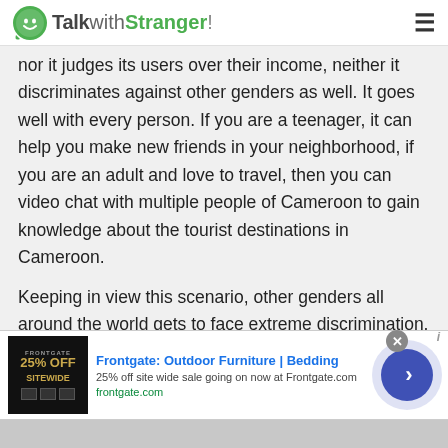TalkwithStranger!
nor it judges its users over their income, neither it discriminates against other genders as well. It goes well with every person. If you are a teenager, it can help you make new friends in your neighborhood, if you are an adult and love to travel, then you can video chat with multiple people of Cameroon to gain knowledge about the tourist destinations in Cameroon.
Keeping in view this scenario, other genders all around the world gets to face extreme discrimination, mental and physical abuse by the
[Figure (screenshot): Frontgate advertisement banner: Outdoor Furniture | Bedding, 25% off site wide sale going on now at Frontgate.com, frontgate.com]